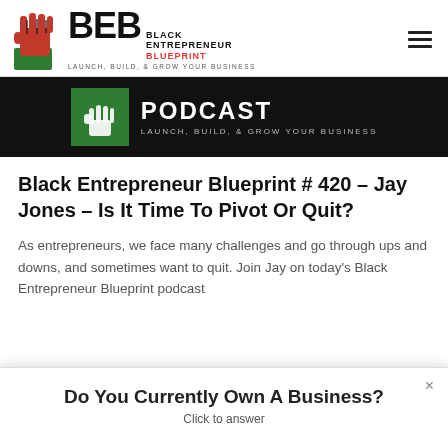[Figure (logo): Black Entrepreneur Blueprint logo with raised fist icon, BEB letters, and tagline 'LAUNCH, BUILD, & GROW YOUR BUSINESS']
[Figure (screenshot): Black podcast banner with green logo box, 'PODCAST' text, and 'LAUNCH, BUILD, & GROW YOUR BUSINESS' tagline]
Black Entrepreneur Blueprint # 420 – Jay Jones – Is It Time To Pivot Or Quit?
As entrepreneurs, we face many challenges and go through ups and downs, and sometimes want to quit. Join Jay on today's Black Entrepreneur Blueprint podcast
Do You Currently Own A Business?
Click to answer